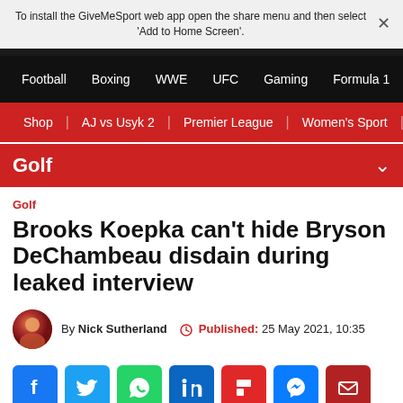To install the GiveMeSport web app open the share menu and then select 'Add to Home Screen'.
Football  Boxing  WWE  UFC  Gaming  Formula 1
Shop | AJ vs Usyk 2 | Premier League | Women's Sport | Th
Golf
Golf
Brooks Koepka can't hide Bryson DeChambeau disdain during leaked interview
By Nick Sutherland  Published: 25 May 2021, 10:35
[Figure (other): Social sharing icons: Facebook, Twitter, WhatsApp, LinkedIn, Flipboard, Messenger, Email]